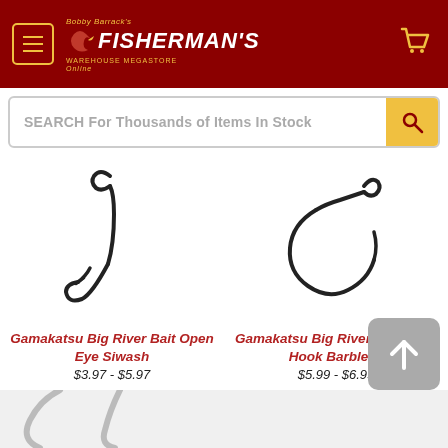[Figure (logo): Bobby Barrack's Fisherman's Warehouse Megastore Online logo on dark red header with menu hamburger icon and shopping cart icon]
SEARCH For Thousands of Items In Stock
[Figure (photo): Gamakatsu Big River Bait Open Eye Siwash fishing hook, black, shown on white background]
Gamakatsu Big River Bait Open Eye Siwash
$3.97 - $5.97
[Figure (photo): Gamakatsu Big River Open Eye Hook Barbless fishing hook, black, shown on white background]
Gamakatsu Big River Open Eye Hook Barbless
$5.99 - $6.99